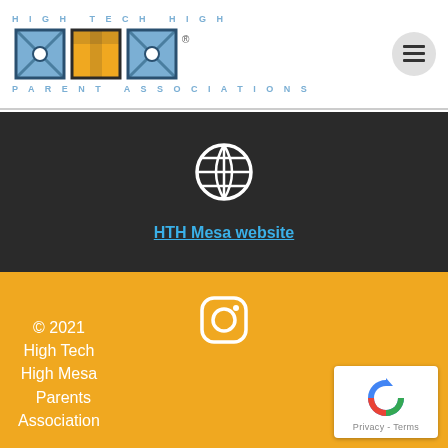[Figure (logo): High Tech High Parent Associations logo with three letter H T H icons (blue, yellow, blue) and text HIGH TECH HIGH above and PARENT ASSOCIATIONS below]
[Figure (other): Hamburger menu icon in a gray circle button]
[Figure (other): Globe/website icon in white on dark background]
HTH Mesa website
[Figure (other): Instagram icon in white/outline on yellow background]
© 2021 High Tech High Mesa Parents Association
[Figure (other): reCAPTCHA badge with Privacy - Terms text]